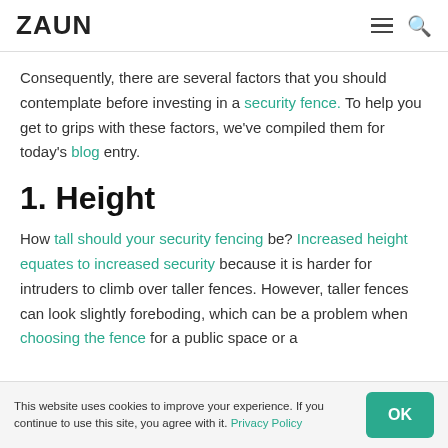ZAUN
Consequently, there are several factors that you should contemplate before investing in a security fence. To help you get to grips with these factors, we've compiled them for today's blog entry.
1. Height
How tall should your security fencing be? Increased height equates to increased security because it is harder for intruders to climb over taller fences. However, taller fences can look slightly foreboding, which can be a problem when choosing the fence for a public space or a
This website uses cookies to improve your experience. If you continue to use this site, you agree with it. Privacy Policy